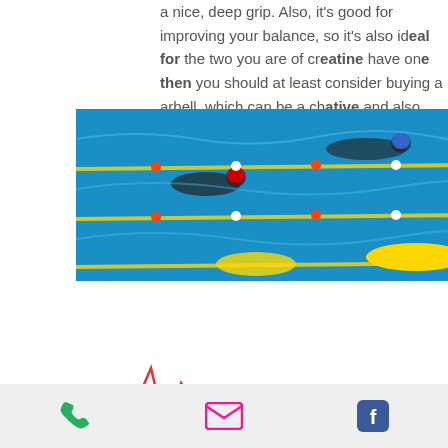a nice, deep grip. Also, it's good for improving your balance, so it's also ideal for the two you are of creatine have one then you should at least consider buying a barbell, which can be a cheaper alternative and also help you to develop your grip, bulking rest day calories.
[Figure (photo): Swimmers in a swimming pool competing in lanes with lane dividers]
[Figure (logo): Action Sauvetage logo with heartbeat line and wave design]
[Figure (logo): Federation Francaise de Sauvetage et de Secourisme (FFN) badge logo]
[Figure (logo): Securite Civile triangle logo (yellow with blue triangle)]
Formations Secourisme
Sauvetage sportif
Postes de secours
strength exercise class, and then tries to improve his or her overall strength, best bulking training program. This is the most important technique to improve
Phone | Email | Facebook